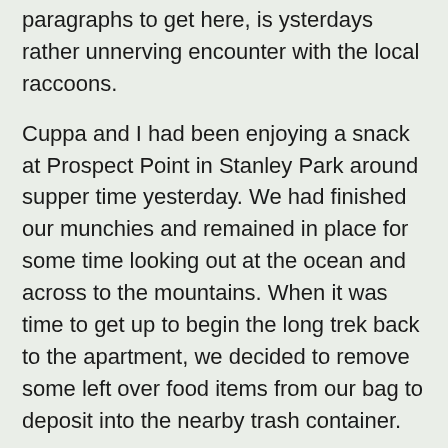paragraphs to get here, is ysterdays rather unnerving encounter with the local raccoons.
Cuppa and I had been enjoying a snack at Prospect Point in Stanley Park around supper time yesterday. We had finished our munchies and remained in place for some time looking out at the ocean and across to the mountains. When it was time to get up to begin the long trek back to the apartment, we decided to remove some left over food items from our bag to deposit into the nearby trash container.
That was when were were swarmed by four, yes four, bold and frightening raccoons who were desperate to snatch our leavings. Their movements were incredibly bold and more than a touch alarming, let me tell you, especially in light of our experience on the previous night.
We had been sitting in the living room conversing about nothing of consequence when we heard a dog yelping a rather frantic and continuous yelp. When we sprang to the window in alarm, we beheld a large raccoon chasing a woman and her small dog. Really. She fell in the street and